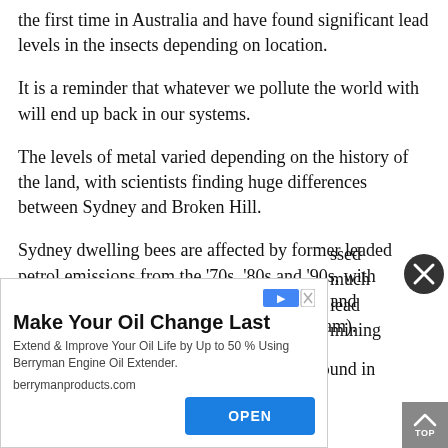the first time in Australia and have found significant lead levels in the insects depending on location.
It is a reminder that whatever we pollute the world with will end up back in our systems.
The levels of metal varied depending on the history of the land, with scientists finding huge differences between Sydney and Broken Hill.
Sydney dwelling bees are affected by former leaded petrol emissions from the '70s, '80s and '90s, with highest lead levels in the CBD, Surry Hills and Newtown (230-440 micrograms per kilogram).
Fortunately however, the amount of lead found in
[Figure (screenshot): Advertisement overlay: 'Make Your Oil Change Last' by Berryman Engine Oil Extender with OPEN button]
ssed much lead mining